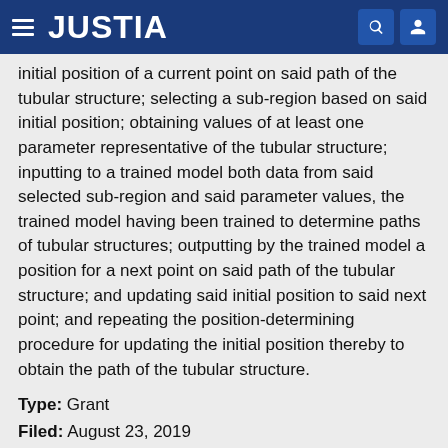JUSTIA
initial position of a current point on said path of the tubular structure; selecting a sub-region based on said initial position; obtaining values of at least one parameter representative of the tubular structure; inputting to a trained model both data from said selected sub-region and said parameter values, the trained model having been trained to determine paths of tubular structures; outputting by the trained model a position for a next point on said path of the tubular structure; and updating said initial position to said next point; and repeating the position-determining procedure for updating the initial position thereby to obtain the path of the tubular structure.
Type: Grant
Filed: August 23, 2019
Date of Patent: December 14, 2021
Assignee: Canon Medical Systems Corporation